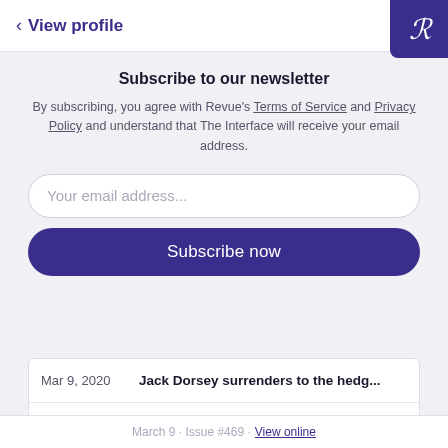< View profile
Subscribe to our newsletter
By subscribing, you agree with Revue's Terms of Service and Privacy Policy and understand that The Interface will receive your email address.
Your email address...
Subscribe now
| Date | Title |
| --- | --- |
| Mar 9, 2020 | Jack Dorsey surrenders to the hedg... |
March 9 · Issue #469 · View online